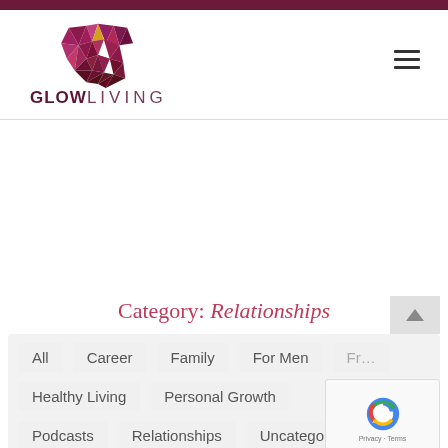[Figure (logo): Glow Living website logo: geometric heart made of purple/pink/gold triangles above the text GLOWLIVING]
Category: Relationships
All
Career
Family
For Men
Healthy Living
Personal Growth
Podcasts
Relationships
Uncategorized